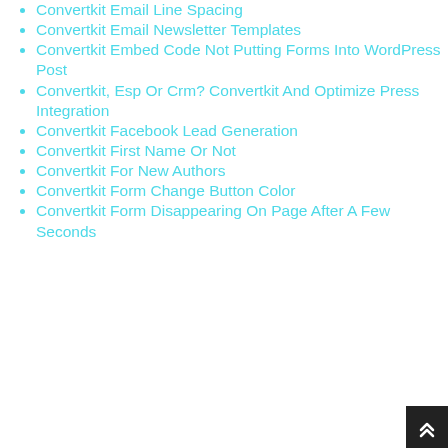Convertkit Email Line Spacing
Convertkit Email Newsletter Templates
Convertkit Embed Code Not Putting Forms Into WordPress Post
Convertkit, Esp Or Crm? Convertkit And Optimize Press Integration
Convertkit Facebook Lead Generation
Convertkit First Name Or Not
Convertkit For New Authors
Convertkit Form Change Button Color
Convertkit Form Disappearing On Page After A Few Seconds